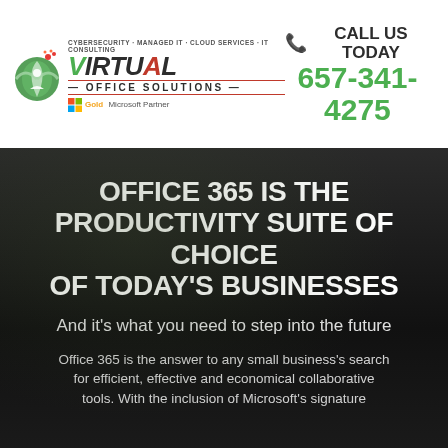[Figure (logo): Virtual Office Solutions logo with green leaf/globe icon, tagline CYBERSECURITY · MANAGED IT · CLOUD SERVICES · IT CONSULTING, company name VIRTUAL OFFICE SOLUTIONS in stylized text, Gold Microsoft Partner badge]
CALL US TODAY 657-341-4275
OFFICE 365 IS THE PRODUCTIVITY SUITE OF CHOICE OF TODAY'S BUSINESSES
And it's what you need to step into the future
Office 365 is the answer to any small business's search for efficient, effective and economical collaborative tools. With the inclusion of Microsoft's signature